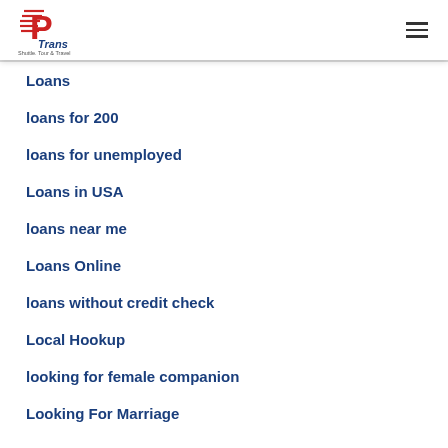P Trans — Shuttle, Tour & Travel
Loans
loans for 200
loans for unemployed
Loans in USA
loans near me
Loans Online
loans without credit check
Local Hookup
looking for female companion
Looking For Marriage